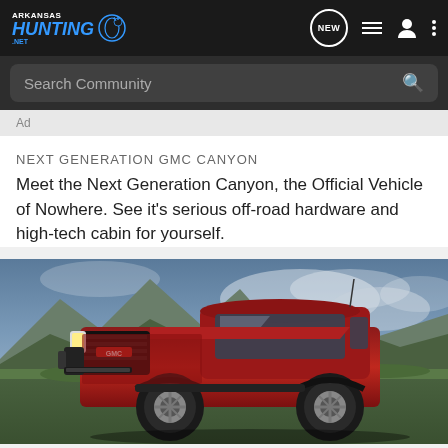Arkansas Hunting .net — navigation bar with logo, NEW bubble, list icon, user icon, dots menu
Search Community
Ad
NEXT GENERATION GMC CANYON
Meet the Next Generation Canyon, the Official Vehicle of Nowhere. See it's serious off-road hardware and high-tech cabin for yourself.
[Figure (photo): Red GMC Canyon AT4X pickup truck parked on a grassy hillside with mountains and dramatic cloudy sky in the background]